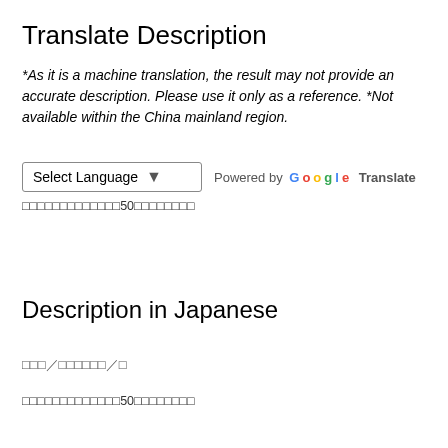Translate Description
*As it is a machine translation, the result may not provide an accurate description. Please use it only as a reference. *Not available within the China mainland region.
[Figure (other): Language selection dropdown labeled 'Select Language' with a Powered by Google Translate badge]
□□□□□□□□□□□□□50□□□□□□□□
Description in Japanese
□□□／□□□□□□／□
□□□□□□□□□□□□□50□□□□□□□□